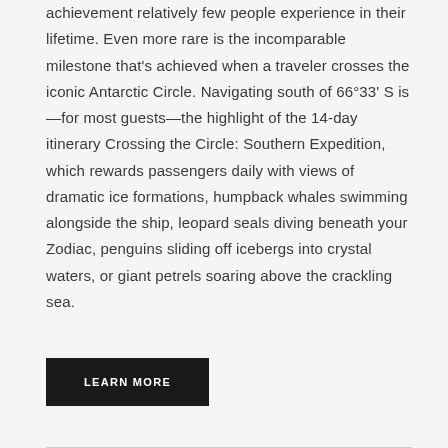Setting foot on the 7th Continent is a polar achievement relatively few people experience in their lifetime. Even more rare is the incomparable milestone that's achieved when a traveler crosses the iconic Antarctic Circle. Navigating south of 66°33' S is—for most guests—the highlight of the 14-day itinerary Crossing the Circle: Southern Expedition, which rewards passengers daily with views of dramatic ice formations, humpback whales swimming alongside the ship, leopard seals diving beneath your Zodiac, penguins sliding off icebergs into crystal waters, or giant petrels soaring above the crackling sea.
LEARN MORE